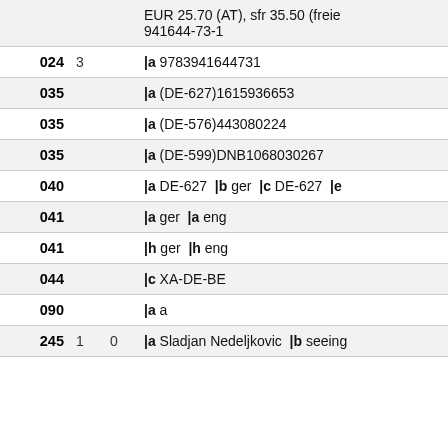| Tag | Ind1 | Ind2 | Data |
| --- | --- | --- | --- |
|  |  |  | EUR 25.70 (AT), sfr 35.50 (freie... 941644-73-1 |
| 024 | 3 |  | |a 9783941644731 |
| 035 |  |  | |a (DE-627)1615936653 |
| 035 |  |  | |a (DE-576)443080224 |
| 035 |  |  | |a (DE-599)DNB1068030267 |
| 040 |  |  | |a DE-627  |b ger  |c DE-627  |e |
| 041 |  |  | |a ger  |a eng |
| 041 |  |  | |h ger  |h eng |
| 044 |  |  | |c XA-DE-BE |
| 090 |  |  | |a a |
| 245 | 1 | 0 | |a Sladjan Nedeljkovic  |b seeing |